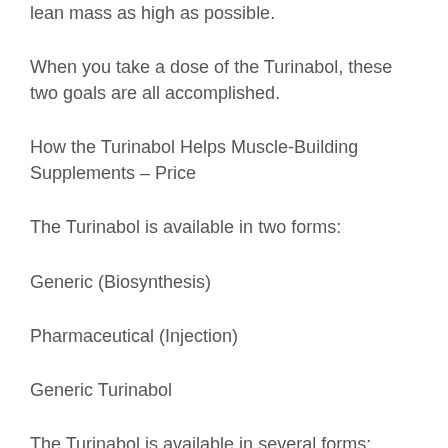lean mass as high as possible.
When you take a dose of the Turinabol, these two goals are all accomplished.
How the Turinabol Helps Muscle-Building Supplements – Price
The Turinabol is available in two forms:
Generic (Biosynthesis)
Pharmaceutical (Injection)
Generic Turinabol
The Turinabol is available in several forms:
The dosage of the Turinabol is very small and, from what many people think, you don't see much benefit.